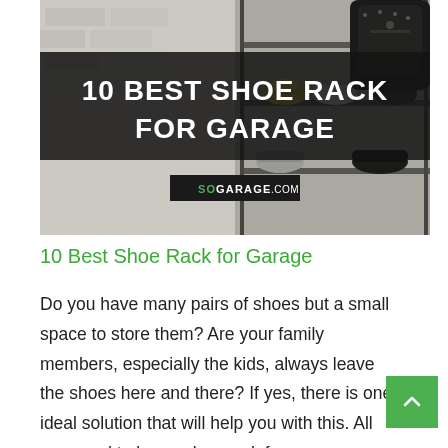[Figure (photo): Photo of a shoe rack with multiple pairs of shoes organized on shelves against a white brick wall background. A black backpack is visible in the upper right. The image has a large dark semi-transparent banner overlay with the title '10 BEST SHOE RACK FOR GARAGE' in white bold uppercase text, and a small black badge reading 'SOGARAGE.COM' near the bottom.]
10 Best Shoe Rack for Garage
Do you have many pairs of shoes but a small space to store them? Are your family members, especially the kids, always leave the shoes here and there? If yes, there is one ideal solution that will help you with this. All you need to buy a shoe rack for...